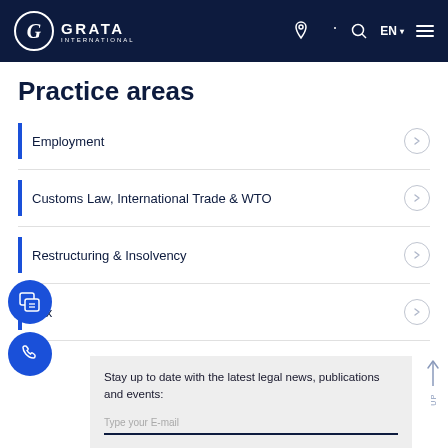GRATA INTERNATIONAL
Practice areas
Employment
Customs Law, International Trade & WTO
Restructuring & Insolvency
Tax
Stay up to date with the latest legal news, publications and events: